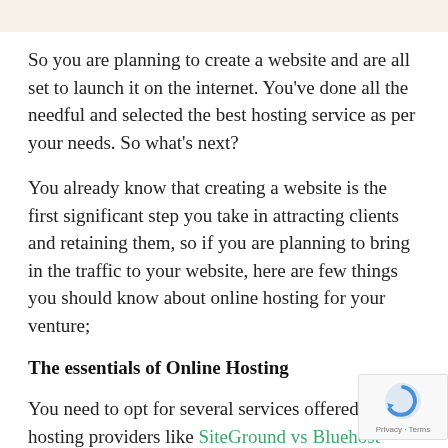So you are planning to create a website and are all set to launch it on the internet. You've done all the needful and selected the best hosting service as per your needs. So what's next?
You already know that creating a website is the first significant step you take in attracting clients and retaining them, so if you are planning to bring in the traffic to your website, here are few things you should know about online hosting for your venture;
The essentials of Online Hosting
You need to opt for several services offered by web hosting providers like SiteGround vs Bluehost in order to run your webpage. These service providers may have had unique server-based companies that can store all